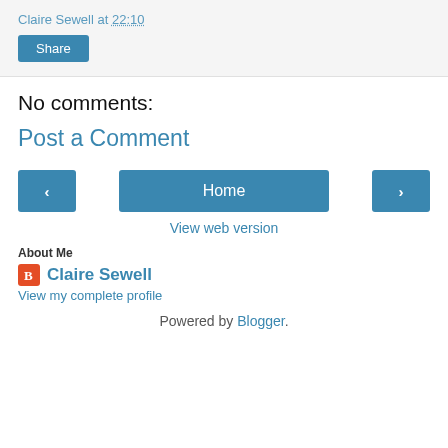Claire Sewell at 22:10
Share
No comments:
Post a Comment
‹ Home ›
View web version
About Me
Claire Sewell
View my complete profile
Powered by Blogger.